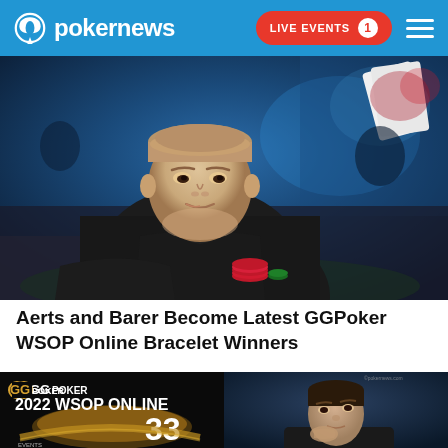pokernews — LIVE EVENTS 1
[Figure (photo): Man in black hoodie sitting at poker table with chips, blue casino lighting in background]
Aerts and Barer Become Latest GGPoker WSOP Online Bracelet Winners
[Figure (photo): GGPoker 2022 WSOP Online promotional banner showing bracelet and number 33]
[Figure (photo): Young man in dark clothing with hand on chin, thoughtful expression]